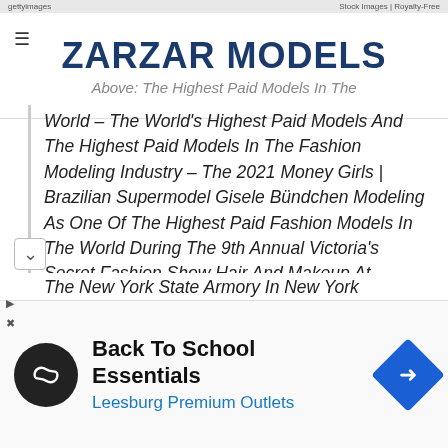ZARZAR MODELS
Above: The Highest Paid Models In The World – The World's Highest Paid Models And The Highest Paid Models In The Fashion Modeling Industry – The 2021 Money Girls | Brazilian Supermodel Gisele Bündchen Modeling As One Of The Highest Paid Fashion Models In The World During The 9th Annual Victoria's Secret Fashion Show Hair And Makeup At The New York State Armory In New York
Back To School Essentials Leesburg Premium Outlets